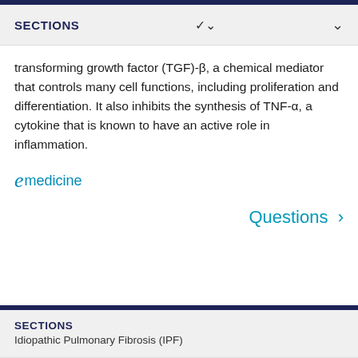SECTIONS
transforming growth factor (TGF)-β, a chemical mediator that controls many cell functions, including proliferation and differentiation. It also inhibits the synthesis of TNF-α, a cytokine that is known to have an active role in inflammation.
[Figure (logo): eMedicine logo in teal/blue color]
Questions >
SECTIONS
Idiopathic Pulmonary Fibrosis (IPF)